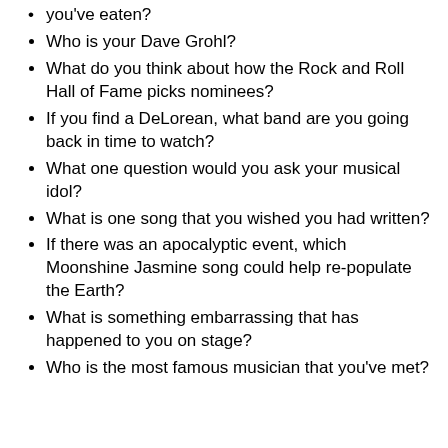you've eaten?
Who is your Dave Grohl?
What do you think about how the Rock and Roll Hall of Fame picks nominees?
If you find a DeLorean, what band are you going back in time to watch?
What one question would you ask your musical idol?
What is one song that you wished you had written?
If there was an apocalyptic event, which Moonshine Jasmine song could help re-populate the Earth?
What is something embarrassing that has happened to you on stage?
Who is the most famous musician that you've met?